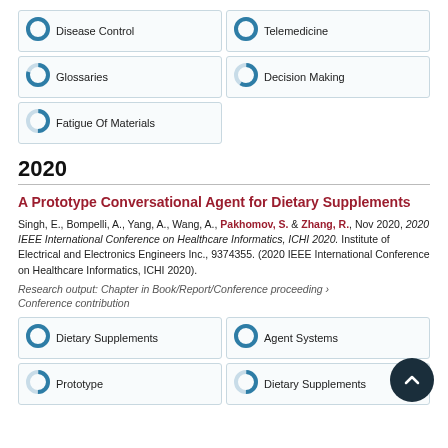[Figure (infographic): Keyword badges with donut/pie fill indicators: Disease Control (100%), Telemedicine (100%), Glossaries (80%), Decision Making (60%), Fatigue Of Materials (50%)]
2020
A Prototype Conversational Agent for Dietary Supplements
Singh, E., Bompelli, A., Yang, A., Wang, A., Pakhomov, S. & Zhang, R., Nov 2020, 2020 IEEE International Conference on Healthcare Informatics, ICHI 2020. Institute of Electrical and Electronics Engineers Inc., 9374355. (2020 IEEE International Conference on Healthcare Informatics, ICHI 2020).
Research output: Chapter in Book/Report/Conference proceeding › Conference contribution
[Figure (infographic): Keyword badges with donut/pie fill indicators: Dietary Supplements (100%), Agent Systems (100%), Prototype (50%), Dietary Supplements (50%)]